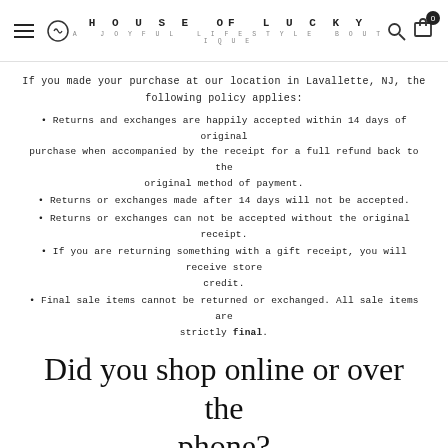HOUSE of LUCKY — A JOYFUL LIFESTYLE BOUTIQUE
If you made your purchase at our location in Lavallette, NJ, the following policy applies:
Returns and exchanges are happily accepted within 14 days of original purchase when accompanied by the receipt for a full refund back to the original method of payment.
Returns or exchanges made after 14 days will not be accepted.
Returns or exchanges can not be accepted without the original receipt.
If you are returning something with a gift receipt, you will receive store credit.
Final sale items cannot be returned or exchanged. All sale items are strictly final.
Did you shop online or over the phone?
If you ordered on houseoflucky.com or with an associate over the phone,